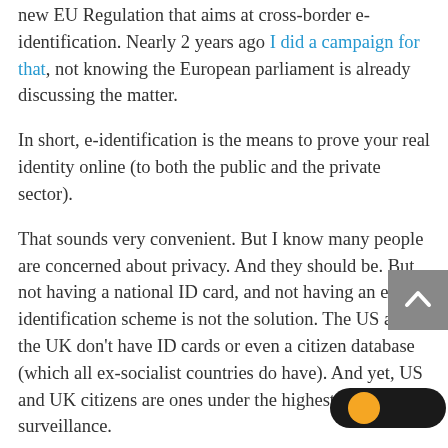new EU Regulation that aims at cross-border e-identification. Nearly 2 years ago I did a campaign for that, not knowing the European parliament is already discussing the matter.
In short, e-identification is the means to prove your real identity online (to both the public and the private sector).
That sounds very convenient. But I know many people are concerned about privacy. And they should be. But not having a national ID card, and not having an e-identification scheme is not the solution. The US and the UK don't have ID cards or even a citizen database (which all ex-socialist countries do have). And yet, US and UK citizens are ones under the highest levels of surveillance.
[Figure (other): Back to top button - grey square with upward chevron arrow]
[Figure (other): Toggle switch UI element - black pill shape with orange circle on left side]